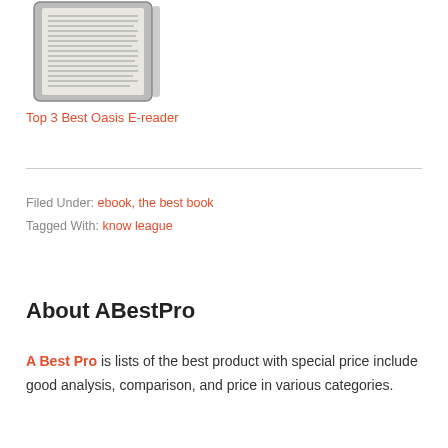[Figure (illustration): Photo of a Kindle/e-reader device showing text on screen, grayscale image]
Top 3 Best Oasis E-reader
Filed Under: ebook, the best book
Tagged With: know league
About ABestPro
A Best Pro is lists of the best product with special price include good analysis, comparison, and price in various categories.